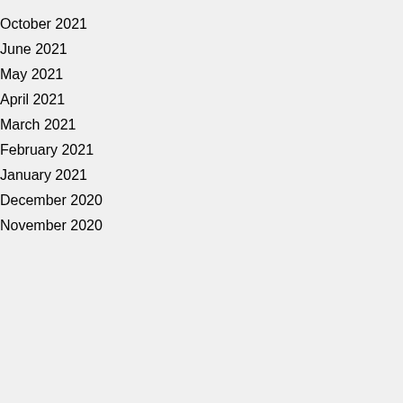October 2021
June 2021
May 2021
April 2021
March 2021
February 2021
January 2021
December 2020
November 2020